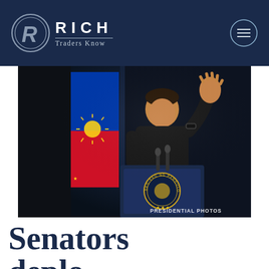RICH Traders Know
[Figure (photo): Philippine President at a podium with the Seal of the President of the Philippines, raising one hand, with the Philippine flag in the background. Photo credit: PRESIDENTIAL PHOTOS]
Senators deplo...